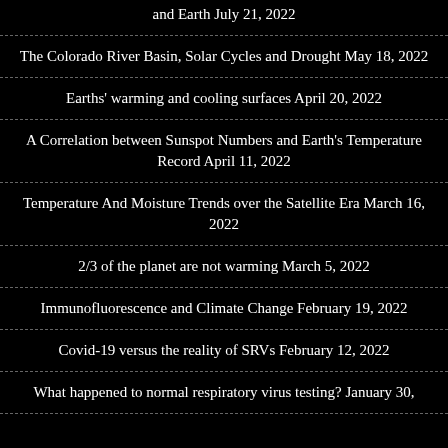and Earth July 21, 2022
The Colorado River Basin, Solar Cycles and Drought May 18, 2022
Earths' warming and cooling surfaces April 20, 2022
A Correlation between Sunspot Numbers and Earth's Temperature Record April 11, 2022
Temperature And Moisture Trends over the Satellite Era March 16, 2022
2/3 of the planet are not warming March 5, 2022
Immunofluorescence and Climate Change February 19, 2022
Covid-19 versus the reality of SRVs February 12, 2022
What happened to normal respiratory virus testing? January 30,